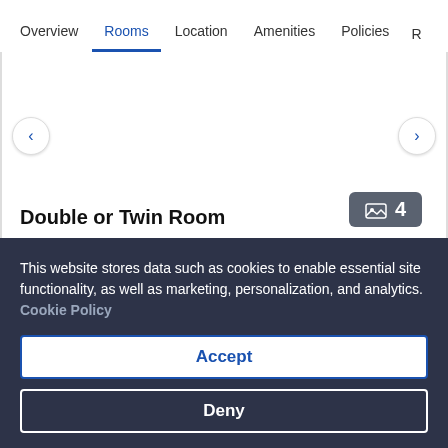Overview | Rooms | Location | Amenities | Policies | R...
[Figure (screenshot): Hotel room image carousel area with left/right navigation arrows and a badge showing 4 photos]
Double or Twin Room
178 sq ft
Sleeps 2
2 Single Beds
This website stores data such as cookies to enable essential site functionality, as well as marketing, personalization, and analytics. Cookie Policy
Accept
Deny